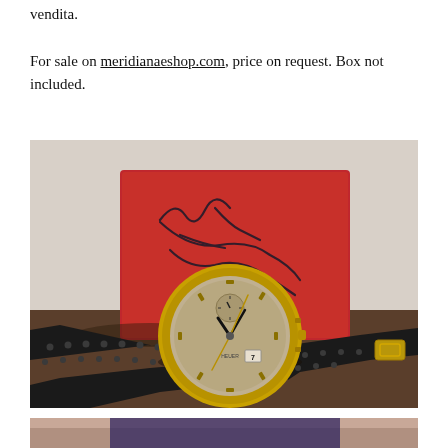vendita.
For sale on meridianaeshop.com, price on request. Box not included.
[Figure (photo): A vintage wristwatch with a gold case and black perforated leather strap, placed in front of a red box with a handwritten signature on it, on a dark wooden surface.]
[Figure (photo): Partial view of another photo showing what appears to be a person wearing a watch.]